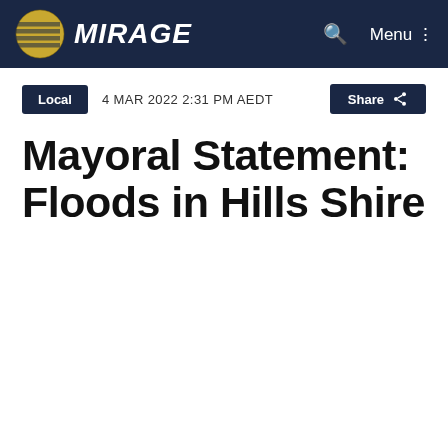THE MIRAGE
Local   4 MAR 2022 2:31 PM AEDT   Share
Mayoral Statement: Floods in Hills Shire